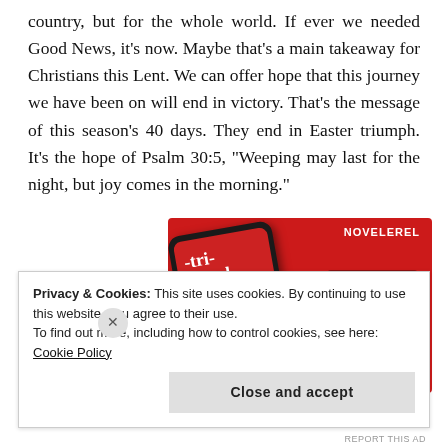country, but for the whole world. If ever we needed Good News, it's now. Maybe that's a main takeaway for Christians this Lent. We can offer hope that this journey we have been on will end in victory. That's the message of this season's 40 days. They end in Easter triumph. It's the hope of Psalm 30:5, "Weeping may last for the night, but joy comes in the morning."
[Figure (screenshot): Advertisement image on red background showing a smartphone with a podcast app playing, text '-tri-buted' and 'novelerel' visible, with a 'Download now' button]
Privacy & Cookies: This site uses cookies. By continuing to use this website, you agree to their use.
To find out more, including how to control cookies, see here: Cookie Policy
Close and accept